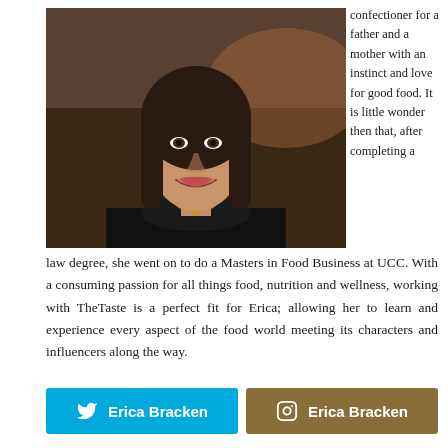[Figure (photo): Portrait photo of a young woman with long dark hair wearing a black top with ruffles and gold necklaces, smiling, in a restaurant setting]
confectioner for a father and a mother with an instinct and love for good food. It is little wonder then that, after completing a law degree, she went on to do a Masters in Food Business at UCC. With a consuming passion for all things food, nutrition and wellness, working with TheTaste is a perfect fit for Erica; allowing her to learn and experience every aspect of the food world meeting its characters and influencers along the way.
Erica Bracken
Erica Bracken